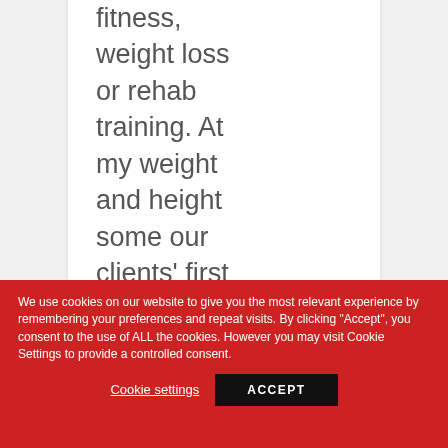fitness, weight loss or rehab training. At my weight and height some our clients' first impression of me is that of, perhaps, shall I say
We use cookies on our website to give you the most relevant experience by remembering your preferences and repeat visits. By clicking "Accept", you consent to the use of ALL the cookies. However you may visit Cookie Settings to provide a controlled consent.
Cookie settings
ACCEPT